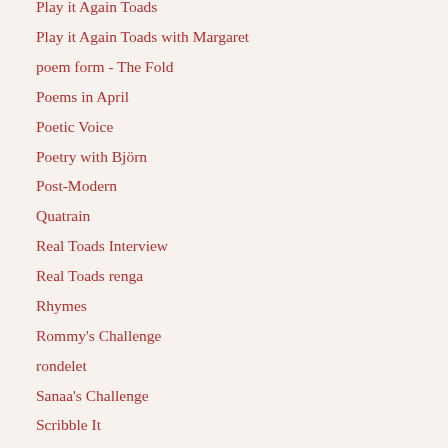Play it Again Toads
Play it Again Toads with Margaret
poem form - The Fold
Poems in April
Poetic Voice
Poetry with Björn
Post-Modern
Quatrain
Real Toads Interview
Real Toads renga
Rhymes
Rommy's Challenge
rondelet
Sanaa's Challenge
Scribble It
senryu
sestina
shadorma
Sherry Blue Sky